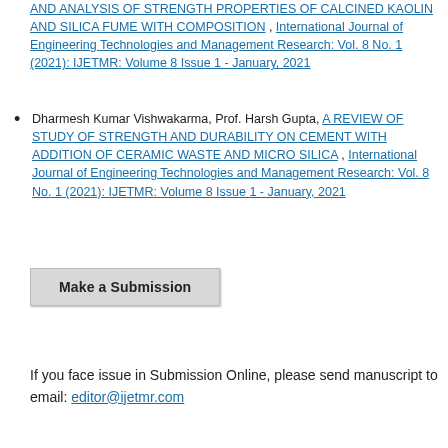AND ANALYSIS OF STRENGTH PROPERTIES OF CALCINED KAOLIN AND SILICA FUME WITH COMPOSITION , International Journal of Engineering Technologies and Management Research: Vol. 8 No. 1 (2021): IJETMR: Volume 8 Issue 1 - January, 2021
Dharmesh Kumar Vishwakarma, Prof. Harsh Gupta, A REVIEW OF STUDY OF STRENGTH AND DURABILITY ON CEMENT WITH ADDITION OF CERAMIC WASTE AND MICRO SILICA , International Journal of Engineering Technologies and Management Research: Vol. 8 No. 1 (2021): IJETMR: Volume 8 Issue 1 - January, 2021
Make a Submission
If you face issue in Submission Online, please send manuscript to email: editor@ijetmr.com